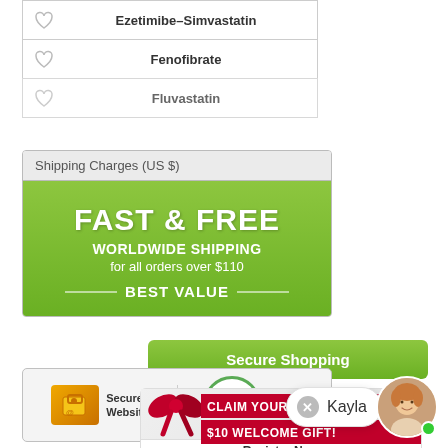|  | Drug Name |
| --- | --- |
| ♡ | Ezetimibe–Simvastatin |
| ♡ | Fenofibrate |
| ♡ | Fluvastatin |
[Figure (infographic): Shipping info box: header 'Shipping Charges (US $)' with green banner showing 'FAST & FREE WORLDWIDE SHIPPING for all orders over $110 — BEST VALUE —']
[Figure (infographic): Green 'Secure Shopping' button]
[Figure (infographic): Security badges: 'Secure Website' and 'COMODO SECURE' logos]
[Figure (infographic): Promotional banner: 'CLAIM YOUR $10 WELCOME GIFT! Register Now' with gift bow image]
[Figure (infographic): Chat avatar with name 'Kayla' and close button]